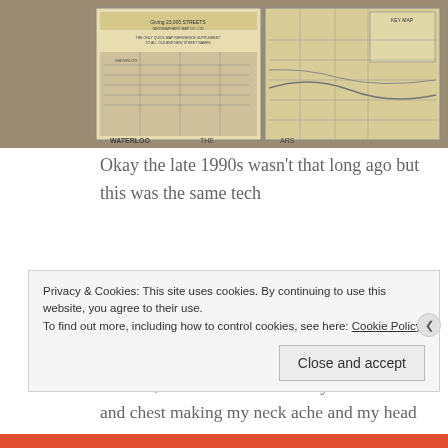[Figure (photo): Photograph of vintage London street maps including a Geographers' Map Co. street index, overlapping with a detailed map showing streets and a key map in the corner. Sepia/yellowish tones.]
Okay the late 1990s wasn't that long ago but this was the same tech
And I guess for a long time I carried that frustration with me whenever I drove around London, the tension I held in my shoulders and chest making my neck ache and my head pound. And I assumed everyone else did too.
Privacy & Cookies: This site uses cookies. By continuing to use this website, you agree to their use.
To find out more, including how to control cookies, see here: Cookie Policy
Close and accept